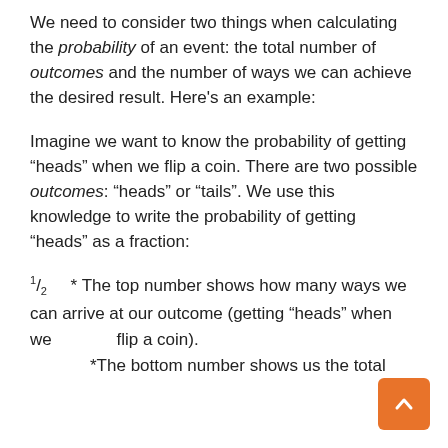We need to consider two things when calculating the probability of an event: the total number of outcomes and the number of ways we can achieve the desired result. Here's an example:
Imagine we want to know the probability of getting "heads" when we flip a coin. There are two possible outcomes: "heads" or "tails". We use this knowledge to write the probability of getting "heads" as a fraction:
1/2    * The top number shows how many ways we can arrive at our outcome (getting "heads" when we flip a coin). *The bottom number shows us the total